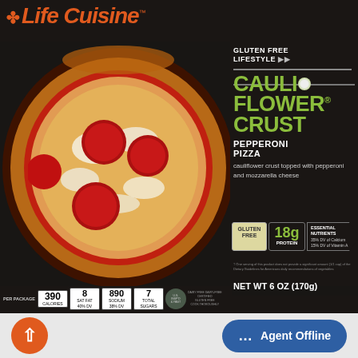[Figure (photo): Life Cuisine brand product box for Cauliflower Crust Pepperoni Pizza, gluten free lifestyle. Shows a pepperoni pizza with cauliflower crust, mozzarella cheese, and red pepperoni slices on a dark background. Box text includes: Gluten Free Lifestyle, Cauliflower Crust, Pepperoni Pizza, cauliflower crust topped with pepperoni and mozzarella cheese. Badges: Gluten Free, 18g Protein, Essential Nutrients 35% DV Calcium 15% DV Vitamin A. Per package: 390 Calories, 8g Sat Fat 40% DV, 890mg Sodium 38% DV, 7g Total Sugars. NET WT 6 OZ (170g).]
Agent Offline